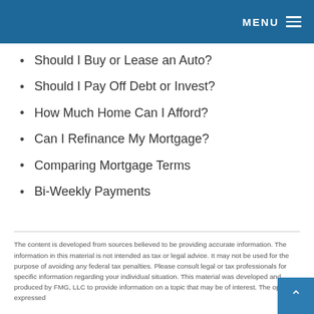MENU
Should I Buy or Lease an Auto?
Should I Pay Off Debt or Invest?
How Much Home Can I Afford?
Can I Refinance My Mortgage?
Comparing Mortgage Terms
Bi-Weekly Payments
The content is developed from sources believed to be providing accurate information. The information in this material is not intended as tax or legal advice. It may not be used for the purpose of avoiding any federal tax penalties. Please consult legal or tax professionals for specific information regarding your individual situation. This material was developed and produced by FMG, LLC to provide information on a topic that may be of interest. The opinions expressed